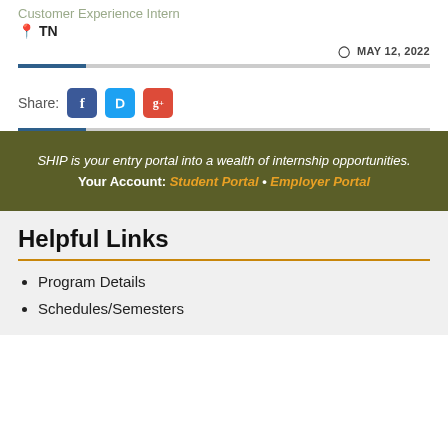Customer Experience Intern
TN
MAY 12, 2022
Share:
SHIP is your entry portal into a wealth of internship opportunities. Your Account: Student Portal • Employer Portal
Helpful Links
Program Details
Schedules/Semesters